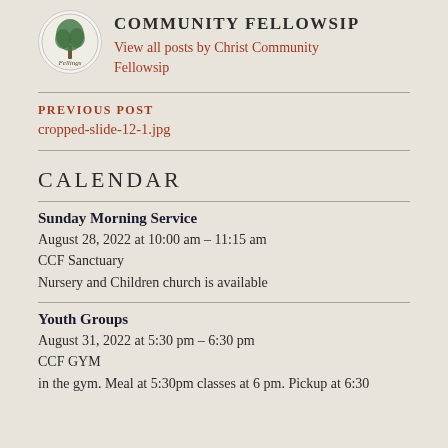[Figure (logo): Circle logo with tree/leaf icon for Christ Community Fellowship]
COMMUNITY FELLOWSIP
View all posts by Christ Community Fellowsip
PREVIOUS POST
cropped-slide-12-1.jpg
CALENDAR
Sunday Morning Service
August 28, 2022 at 10:00 am – 11:15 am
CCF Sanctuary
Nursery and Children church is available
Youth Groups
August 31, 2022 at 5:30 pm – 6:30 pm
CCF GYM
in the gym. Meal at 5:30pm classes at 6 pm. Pickup at 6:30